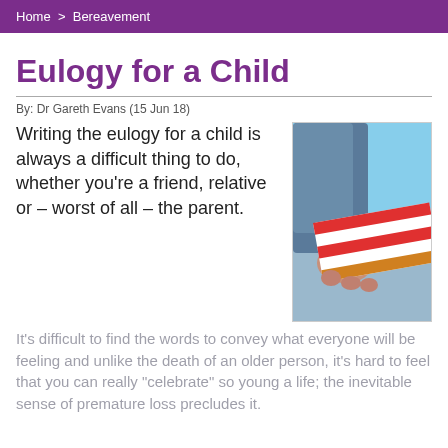Home > Bereavement
Eulogy for a Child
By: Dr Gareth Evans (15 Jun 18)
Writing the eulogy for a child is always a difficult thing to do, whether you're a friend, relative or – worst of all – the parent.
[Figure (photo): An adult hand holding a small child's hand wearing a striped sleeve, against a blue sky background]
It's difficult to find the words to convey what everyone will be feeling and unlike the death of an older person, it's hard to feel that you can really "celebrate" so young a life; the inevitable sense of premature loss precludes it.
This website uses cookies to ensure you get the best experience on our website.
Cookie Policy
Got it!
What many people facing this particular challenge often forget is that it is one of the